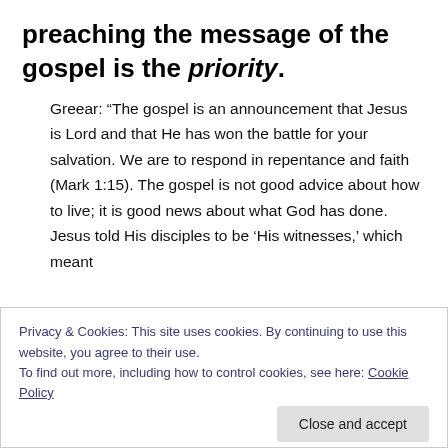preaching the message of the gospel is the priority.
Greear: “The gospel is an announcement that Jesus is Lord and that He has won the battle for your salvation. We are to respond in repentance and faith (Mark 1:15). The gospel is not good advice about how to live; it is good news about what God has done. Jesus told His disciples to be ‘His witnesses,’ which meant
Privacy & Cookies: This site uses cookies. By continuing to use this website, you agree to their use.
To find out more, including how to control cookies, see here: Cookie Policy